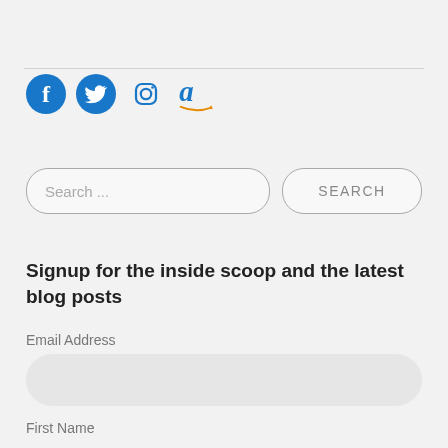[Figure (infographic): Social media icons row: Facebook, Twitter, Instagram, Amazon]
Search ...
SEARCH
Signup for the inside scoop and the latest blog posts
Email Address
First Name